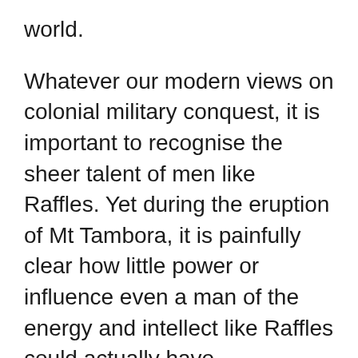world.
Whatever our modern views on colonial military conquest, it is important to recognise the sheer talent of men like Raffles. Yet during the eruption of Mt Tambora, it is painfully clear how little power or influence even a man of the energy and intellect like Raffles could actually have.
Between 05 April 1815 and 10 April 1815, Mt Tambora would erupt three main times. These eruptions would be